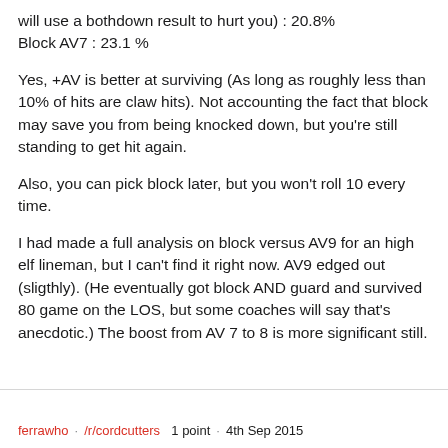will use a bothdown result to hurt you) : 20.8% Block AV7 : 23.1 %
Yes, +AV is better at surviving (As long as roughly less than 10% of hits are claw hits). Not accounting the fact that block may save you from being knocked down, but you're still standing to get hit again.
Also, you can pick block later, but you won't roll 10 every time.
I had made a full analysis on block versus AV9 for an high elf lineman, but I can't find it right now. AV9 edged out (sligthly). (He eventually got block AND guard and survived 80 game on the LOS, but some coaches will say that's anecdotic.) The boost from AV 7 to 8 is more significant still.
ferrawho · /r/cordcutters  1 point · 4th Sep 2015